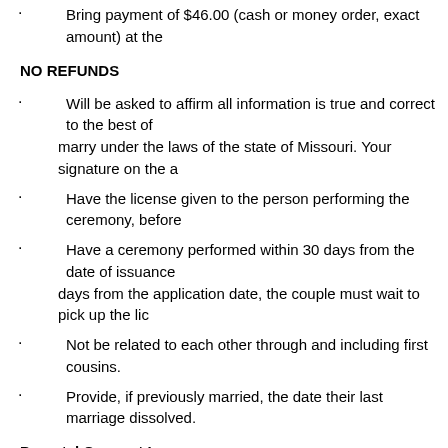Bring payment of $46.00 (cash or money order, exact amount) at the
NO REFUNDS
Will be asked to affirm all information is true and correct to the best of marry under the laws of the state of Missouri. Your signature on the a
Have the license given to the person performing the ceremony, before
Have a ceremony performed within 30 days from the date of issuance days from the application date, the couple must wait to pick up the lic
Not be related to each other through and including first cousins.
Provide, if previously married, the date their last marriage dissolved.
Parental Consent Laws
CLICK HERE
Persons solemnizing marriages
Section 451.100 RSMo. Marriages may be solemnized by any clergyman, e state. Marriages may also be solemnized, without compensation, by any jud